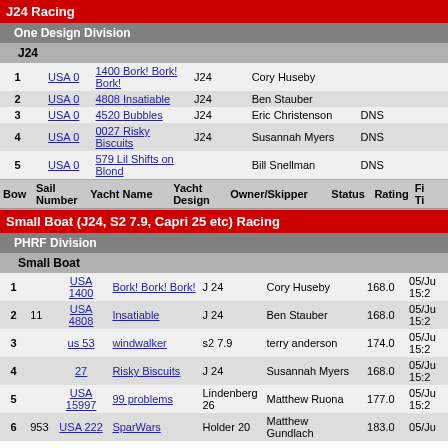J24 Racing
One Design Division
J24
| Bow | Sail Number | Yacht Name | Yacht Design | Owner/Skipper | Status | Rating | Fin Ti |
| --- | --- | --- | --- | --- | --- | --- | --- |
| 1 | USA 0 | 1400 Bork! Bork! Bork! | J24 | Cory Huseby |  |  |  |
| 2 | USA 0 | 4808 Insatiable | J24 | Ben Stauber |  |  |  |
| 3 | USA 0 | 4520 Bubbles | J24 | Eric Christenson | DNS |  |  |
| 4 | USA 0 | 0027 Risky Biscuits | J24 | Susannah Myers | DNS |  |  |
| 5 | USA 0 | 579 Lil Shifts on Blond |  | Bill Snellman | DNS |  |  |
| Bow | Sail Number | Yacht Name | Yacht Design | Owner/Skipper | Status | Rating | Fin Ti |
| --- | --- | --- | --- | --- | --- | --- | --- |
Small Boat (J24, S2 7.9, Capri 25 etc) Racing
PHRF Division
Small Boat
| Bow | Sail Number | Yacht Name | Yacht Design | Owner/Skipper | Rating | Fin Ti |
| --- | --- | --- | --- | --- | --- | --- |
| 1 | USA 1400 | Bork! Bork! Bork! | J 24 | Cory Huseby | 168.0 | 05/Ju 15:2 |
| 2 | 11 USA 4808 | Insatiable | J 24 | Ben Stauber | 168.0 | 05/Ju 15:2 |
| 3 | us 53 | windwalker | s2 7.9 | terry anderson | 174.0 | 05/Ju 15:2 |
| 4 | 27 | Risky Biscuits | J 24 | Susannah Myers | 168.0 | 05/Ju 15:2 |
| 5 | USA 15997 | 99 problems | Lindenberg 26 | Matthew Ruona | 177.0 | 05/Ju 15:2 |
| 6 | 953 USA 222 | SparWars | Holder 20 | Matthew Gundlach | 183.0 | 05/Ju |